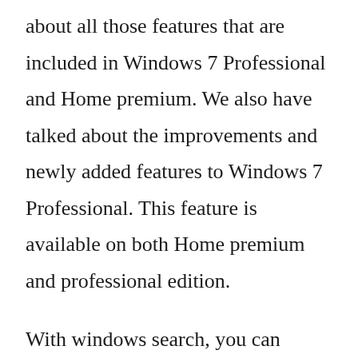about all those features that are included in Windows 7 Professional and Home premium. We also have talked about the improvements and newly added features to Windows 7 Professional. This feature is available on both Home premium and professional edition.
With windows search, you can easily look for files or programs on your computer and locate their location or even open them using the search. Using these features is really helpful for those who want to have quick access to